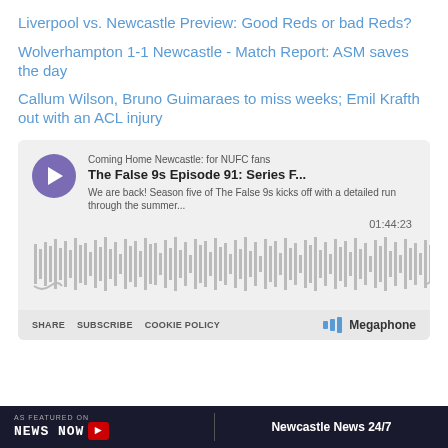Liverpool vs. Newcastle Preview: Good Reds or bad Reds?
Wolverhampton 1-1 Newcastle - Match Report: ASM saves the day
Callum Wilson, Bruno Guimaraes to miss weeks; Emil Krafth out with an ACL injury
[Figure (screenshot): Podcast player widget for 'Coming Home Newcastle: for NUFC fans' - The False 9s Episode 91: Series F... with waveform, timestamp 01:44:23, share/subscribe/cookie policy links and Megaphone branding]
[Figure (screenshot): Bottom banner: AS FEATURED ON / NEWS NOW with arrow button, and Newcastle News 24/7 text on dark background]